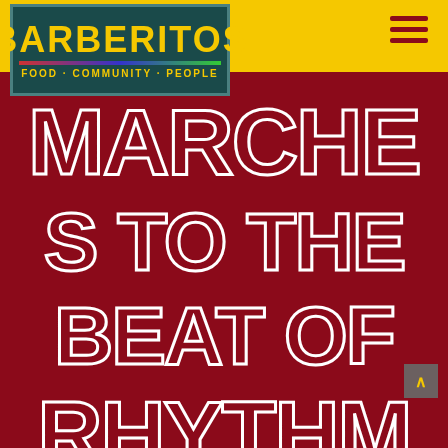[Figure (logo): Barberitos logo on dark teal background with yellow text reading BARBERITOS and tagline FOOD · COMMUNITY · PEOPLE]
MARCHES TO THE BEAT OF RHYTHM